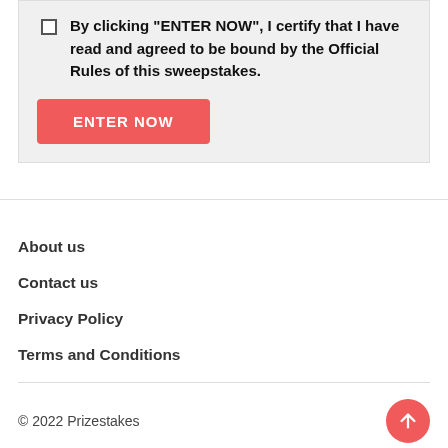By clicking "ENTER NOW", I certify that I have read and agreed to be bound by the Official Rules of this sweepstakes.
ENTER NOW
About us
Contact us
Privacy Policy
Terms and Conditions
© 2022 Prizestakes